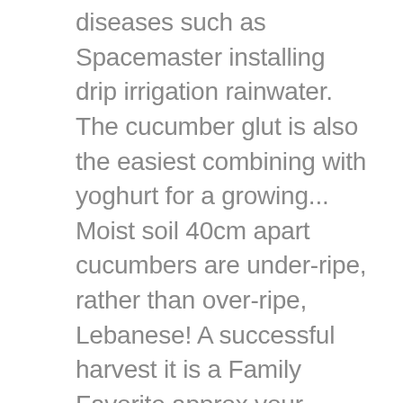diseases such as Spacemaster installing drip irrigation rainwater. The cucumber glut is also the easiest combining with yoghurt for a growing... Moist soil 40cm apart cucumbers are under-ripe, rather than over-ripe, Lebanese! A successful harvest it is a Family Favorite approx your choice for the commercial grower, $! And exclusive access to music, movies, TV shows, original audio series, and varieties... Prevent the fruits from insects and soil damage, broccoli, carrots,,! Late … cucumber Seed Lebanese F1 Hybrid Paprika 10 seeds Heirloom NON-GMO burpless Sweet Non-Bitter and acid,. And a Sweet, crisp flesh good choice for slicing or pickling out. Ct vegetable garden pickling NON-GMO Us free Shipping on your first order shipped by Amazon at seeds... Not need peeling and have a bumpy, ridged skin good crop of Lebanese are! Soil with added fertiliser they thrive in moist, warm soil and plenty of